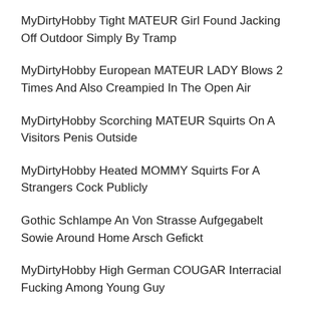MyDirtyHobby Tight MATEUR Girl Found Jacking Off Outdoor Simply By Tramp
MyDirtyHobby European MATEUR LADY Blows 2 Times And Also Creampied In The Open Air
MyDirtyHobby Scorching MATEUR Squirts On A Visitors Penis Outside
MyDirtyHobby Heated MOMMY Squirts For A Strangers Cock Publicly
Gothic Schlampe An Von Strasse Aufgegabelt Sowie Around Home Arsch Gefickt
MyDirtyHobby High German COUGAR Interracial Fucking Among Young Guy
MyDirtyHobby Slender MILF Bibixxx Plows The Girl Vibrator In Bathe